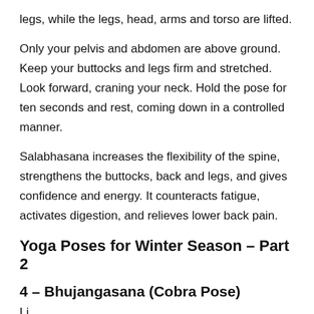legs, while the legs, head, arms and torso are lifted.
Only your pelvis and abdomen are above ground. Keep your buttocks and legs firm and stretched. Look forward, craning your neck. Hold the pose for ten seconds and rest, coming down in a controlled manner.
Salabhasana increases the flexibility of the spine, strengthens the buttocks, back and legs, and gives confidence and energy. It counteracts fatigue, activates digestion, and relieves lower back pain.
Yoga Poses for Winter Season – Part 2
4 – Bhujangasana (Cobra Pose)
Li...